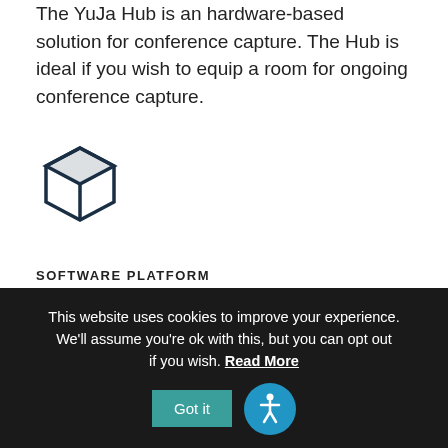The YuJa Hub is an hardware-based solution for conference capture. The Hub is ideal if you wish to equip a room for ongoing conference capture.
[Figure (illustration): 3D box/cube icon in dark navy color]
SOFTWARE PLATFORM
The YuJa Software Station runs on a podium PC or laptop computer, enabling a versatile and mobile solution to conference capture.
[Figure (illustration): Small icon showing a person with speech bubble/chat icon]
This website uses cookies to improve your experience. We'll assume you're ok with this, but you can opt out if you wish. Read More